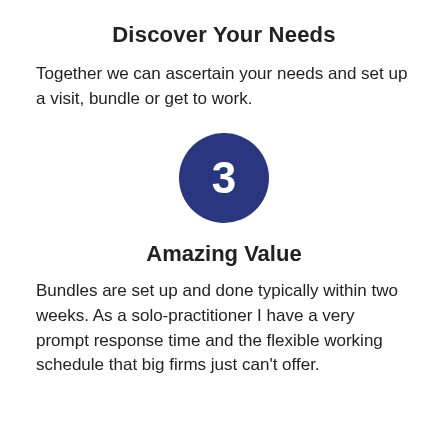Discover Your Needs
Together we can ascertain your needs and set up a visit, bundle or get to work.
[Figure (infographic): Dark navy blue circle with white number 3 in bold centered inside]
Amazing Value
Bundles are set up and done typically within two weeks. As a solo-practitioner I have a very prompt response time and the flexible working schedule that big firms just can't offer.